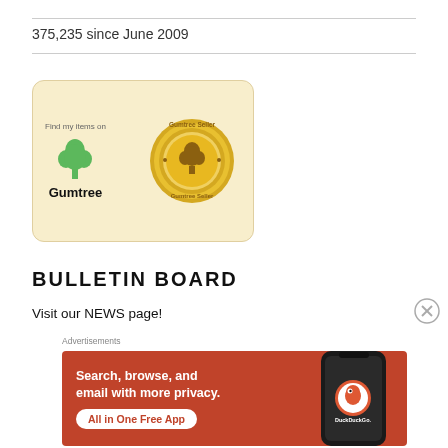375,235 since June 2009
[Figure (logo): Gumtree seller badge — cream/tan rounded rectangle containing 'Find my items on' text, green Gumtree tree icon, and 'Gumtree' wordmark on the left; a gold medallion seal with 'Gumtree Seller' text and tree icon on the right.]
BULLETIN BOARD
Visit our NEWS page!
Advertisements
[Figure (screenshot): DuckDuckGo advertisement banner with orange/red background. Left side text: 'Search, browse, and email with more privacy.' and white pill button 'All in One Free App'. Right side shows a dark smartphone with DuckDuckGo logo and wordmark.]